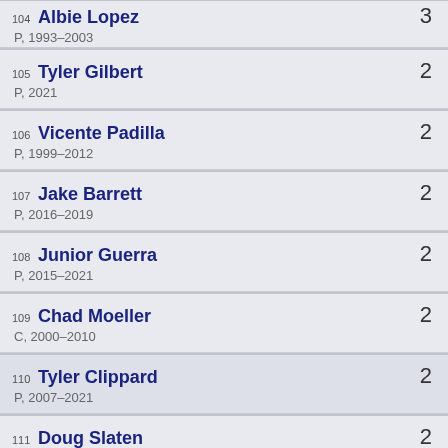104 Albie Lopez
P, 1993–2003
3
105 Tyler Gilbert
P, 2021
2
106 Vicente Padilla
P, 1999–2012
2
107 Jake Barrett
P, 2016–2019
2
108 Junior Guerra
P, 2015–2021
2
109 Chad Moeller
C, 2000–2010
2
110 Tyler Clippard
P, 2007–2021
2
111 Doug Slaten
P, 2006–2012
2
112 Brandon Medders
P, 2005–2010
2